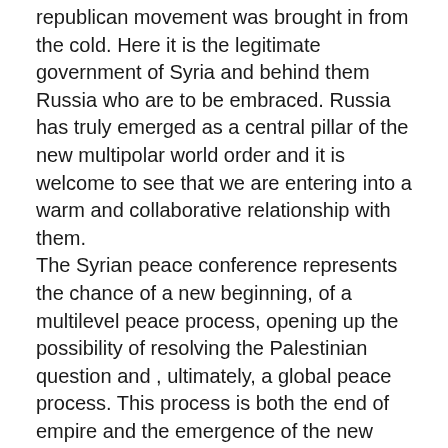republican movement was brought in from the cold. Here it is the legitimate government of Syria and behind them Russia who are to be embraced. Russia has truly emerged as a central pillar of the new multipolar world order and it is welcome to see that we are entering into a warm and collaborative relationship with them. The Syrian peace conference represents the chance of a new beginning, of a multilevel peace process, opening up the possibility of resolving the Palestinian question and , ultimately, a global peace process. This process is both the end of empire and the emergence of the new structures of governance of the post-imperial world. It will, if the Irish process is anything to go by,  be long and torturous. In abandoning our hegemonic pretensions we will seek a series of quid pro quos which will alleviate our distressed economic position and facilitate a relatively